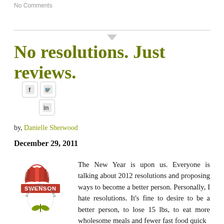No Comments
No resolutions. Just reviews.
by, Danielle Sherwood
December 29, 2011
[Figure (logo): Swenson Book Development logo — red open book above red banner reading SWENSON, olive/green plant below, circular text reading BOOK DEVELOPMENT]
The New Year is upon us. Everyone is talking about 2012 resolutions and proposing ways to become a better person. Personally, I hate resolutions. It's fine to desire to be a better person, to lose 15 lbs, to eat more wholesome meals and fewer fast food quick fixes to tackle home